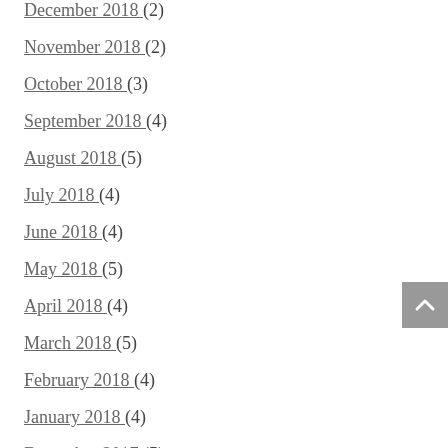December 2018 (2)
November 2018 (2)
October 2018 (3)
September 2018 (4)
August 2018 (5)
July 2018 (4)
June 2018 (4)
May 2018 (5)
April 2018 (4)
March 2018 (5)
February 2018 (4)
January 2018 (4)
December 2017 (5)